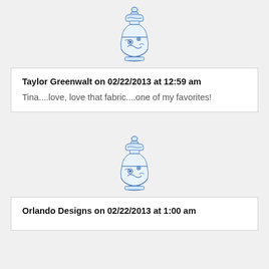[Figure (illustration): Blue and white decorative Chinese-style ginger jar / vase avatar icon]
Taylor Greenwalt on 02/22/2013 at 12:59 am
Tina....love, love that fabric....one of my favorites!
[Figure (illustration): Blue and white decorative Chinese-style ginger jar / vase avatar icon]
Orlando Designs on 02/22/2013 at 1:00 am